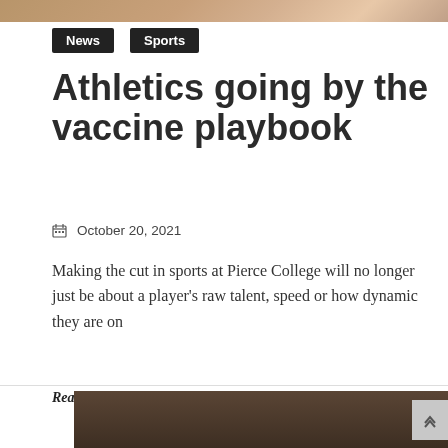[Figure (photo): Top partial image showing what appears to be an orange object on a surface]
News
Sports
Athletics going by the vaccine playbook
October 20, 2021
Making the cut in sports at Pierce College will no longer just be about a player's raw talent, speed or how dynamic they are on
Read More
[Figure (photo): Bottom partial image showing rocks or pebbles on ground with jeans-clad legs visible]